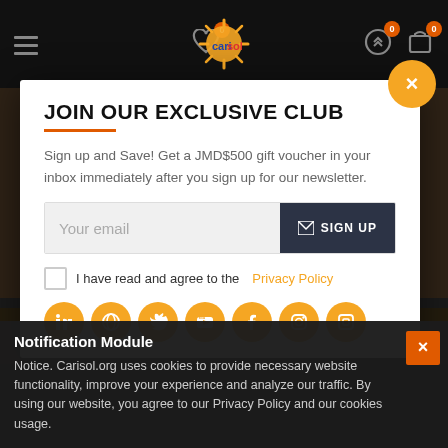[Figure (screenshot): Website navigation bar with hamburger menu, heart icon with badge 0, sun logo with colored text, exchange/return icon with badge 0, and cart icon with badge 0]
JOIN OUR EXCLUSIVE CLUB
Sign up and Save! Get a JMD$500 gift voucher in your inbox immediately after you sign up for our newsletter.
Your email
SIGN UP
I have read and agree to the Privacy Policy
[Figure (screenshot): Social media icon circles in orange: LinkedIn, globe/web, Twitter, YouTube, Facebook, Instagram, and one more]
Notification Module
Notice. Carisol.org uses cookies to provide necessary website functionality, improve your experience and analyze our traffic. By using our website, you agree to our Privacy Policy and our cookies usage.